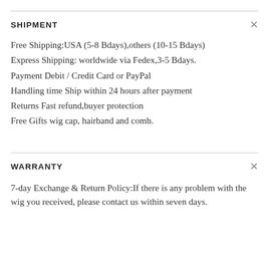SHIPMENT
Free Shipping:USA (5-8 Bdays),others (10-15 Bdays)
Express Shipping: worldwide via Fedex,3-5 Bdays.
Paymentï Debit / Credit Card or PayPal
Handling timeïShip within 24 hours after payment
ReturnsïFast refund,buyer protection
Free Giftsïwig cap, hairband and comb.
WARRANTY
7-day Exchange & Return Policy:If there is any problem with the wig you received, please contact us within seven days.